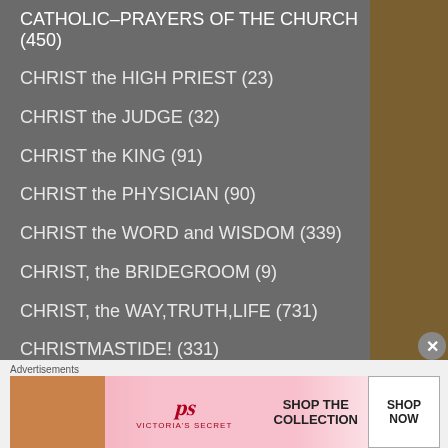CATHOLIC–PRAYERS OF THE CHURCH (450)
CHRIST the HIGH PRIEST (23)
CHRIST the JUDGE (32)
CHRIST the KING (91)
CHRIST the PHYSICIAN (90)
CHRIST the WORD and WISDOM (339)
CHRIST, the BRIDEGROOM (9)
CHRIST, the WAY,TRUTH,LIFE (731)
CHRISTMASTIDE! (331)
CONFESSION (23)
CONFESSION (2)
Advertisements
[Figure (photo): Victoria's Secret advertisement banner with model and shop the collection call to action]